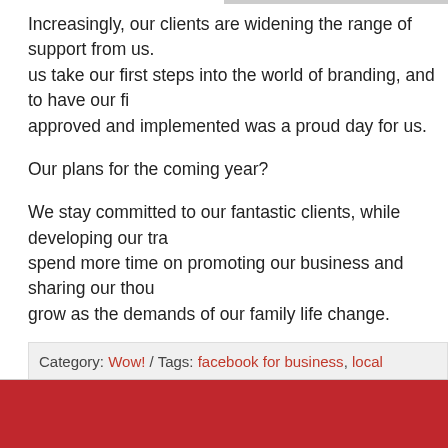Increasingly, our clients are widening the range of support from us. us take our first steps into the world of branding, and to have our fi approved and implemented was a proud day for us.
Our plans for the coming year?
We stay committed to our fantastic clients, while developing our tra spend more time on promoting our business and sharing our thou grow as the demands of our family life change.
Here’s to another fantastic year!
Category: Wow! / Tags: facebook for business, local business, small bus Media, social media marketing